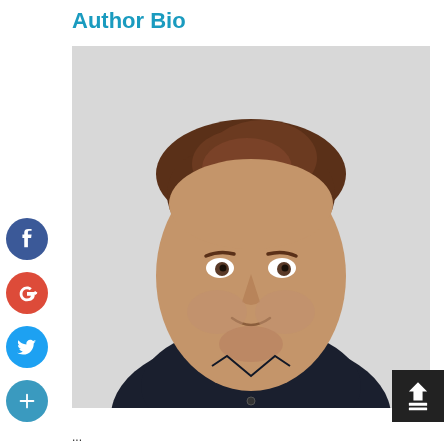Author Bio
[Figure (photo): Headshot of a man with brown curly hair and a beard, wearing a dark navy shirt, smiling slightly, against a light gray background.]
...